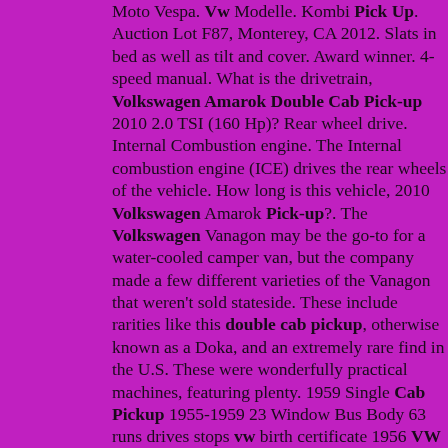Moto Vespa. Vw Modelle. Kombi Pick Up. Auction Lot F87, Monterey, CA 2012. Slats in bed as well as tilt and cover. Award winner. 4-speed manual. What is the drivetrain, Volkswagen Amarok Double Cab Pick-up 2010 2.0 TSI (160 Hp)? Rear wheel drive. Internal Combustion engine. The Internal combustion engine (ICE) drives the rear wheels of the vehicle. How long is this vehicle, 2010 Volkswagen Amarok Pick-up?. The Volkswagen Vanagon may be the go-to for a water-cooled camper van, but the company made a few different varieties of the Vanagon that weren't sold stateside. These include rarities like this double cab pickup, otherwise known as a Doka, and an extremely rare find in the U.S. These were wonderfully practical machines, featuring plenty. 1959 Single Cab Pickup 1955-1959 23 Window Bus Body 63 runs drives stops vw birth certificate 1956 VW Single Cab 1965 VW Sunroof Standard (225) Split Bus rare proj 1958 sunroof kombi, original dove blue survivor 1962 full rotisserie build double cab!!! Volkswagen 1964 T1 Food Truck Bus 1967 21 Window Bus Restored 10 Years Ago. Rare VW Double Cab, Show Winner. Colorado Sourced. Media Blasted Prior to Paint. Alabaster Gray L473 & Mouse Gray L440. 1600 cc Engine Professionally Built, Less than 2000 Miles Ago. Recent Transmission Rebuild, Including New Clutch & Pressure Plate. Brakes Replaced. New Interior. Correct Factory Seats.